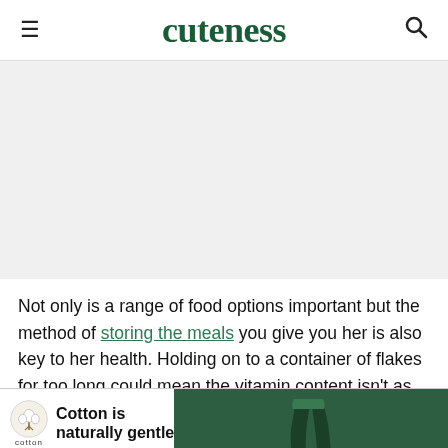cuteness
[Figure (other): Large grey placeholder image area (advertisement or content image)]
Not only is a range of food options important but the method of storing the meals you give you her is also key to her health. Holding on to a container of flakes for too long could mean the vitamin content isn't as high as [text cut off] in six
[Figure (infographic): Cotton advertisement banner: Cotton logo with cotton plant icon, text 'Cotton is naturally gentle', green pants image on right side]